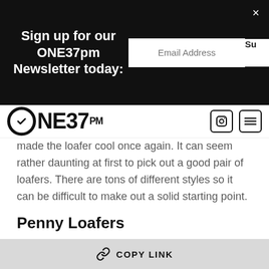Sign up for our ONE37pm Newsletter today: [Email Address input] [Su button] [x close]
[Figure (logo): ONE37PM logo with circle checkmark icon and hamburger menu icon]
made the loafer cool once again. It can seem rather daunting at first to pick out a good pair of loafers. There are tons of different styles so it can be difficult to make out a solid starting point.
Penny Loafers
Penny loafers are probably the most iconic of all loafer variants, dating their origins back to the 1930s. The strap on the upper, which resembles pursed lips, is meant to hold a penny for an emergency payphone call, back when it cost two
🔗 COPY LINK